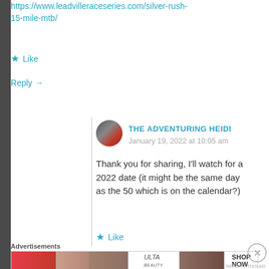https://www.leadvilleraceseries.com/silver-rush-15-mile-mtb/
★ Like
Reply →
THE ADVENTURING HEIDI
January 19, 2022 at 10:05 am
Thank you for sharing, I'll watch for a 2022 date (it might be the same day as the 50 which is on the calendar?)
★ Like
[Figure (infographic): Advertisement banner for ULTA beauty featuring cosmetics imagery with SHOP NOW call to action]
Advertisements
REPORT THIS AD